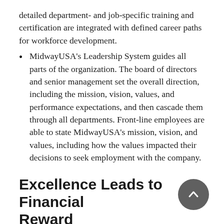detailed department- and job-specific training and certification are integrated with defined career paths for workforce development.
MidwayUSA's Leadership System guides all parts of the organization. The board of directors and senior management set the overall direction, including the mission, vision, values, and performance expectations, and then cascade them through all departments. Front-line employees are able to state MidwayUSA's mission, vision, and values, including how the values impacted their decisions to seek employment with the company.
Excellence Leads to Financial Reward
MidwayUSA's strong focuses on customer, employee, and supplier satisfaction have yielded an equally strong